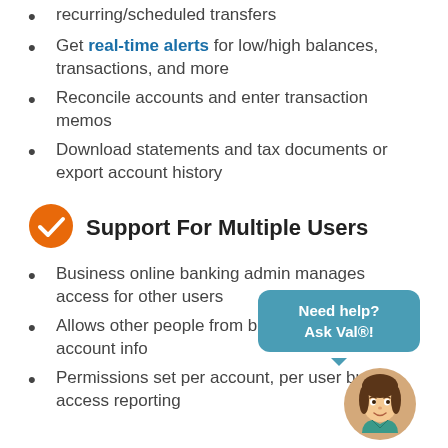recurring/scheduled transfers
Get real-time alerts for low/high balances, transactions, and more
Reconcile accounts and enter transaction memos
Download statements and tax documents or export account history
Support For Multiple Users
Business online banking admin manages access for other users
Allows other people from bookkeeper to access account info
Permissions set per account, per user built-in access reporting
[Figure (illustration): Chat bubble with text 'Need help? Ask Val®!' and avatar of a woman]
[Figure (illustration): Orange circle with white checkmark icon used as section header indicator]